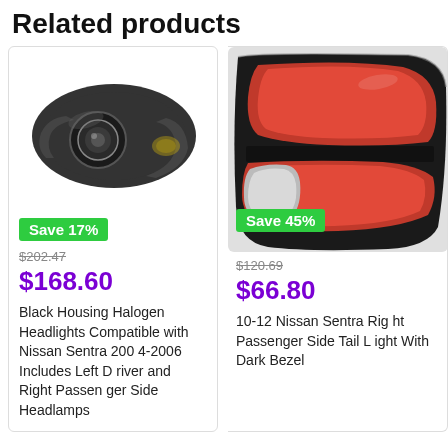Related products
[Figure (photo): Black housing halogen headlight assembly for Nissan Sentra]
Save 17%
$202.47
$168.60
Black Housing Halogen Headlights Compatible with Nissan Sentra 200 4-2006 Includes Left Driver and Right Passenger Side Headlamps
[Figure (photo): Tail light assembly for 10-12 Nissan Sentra with dark bezel]
Save 45%
$120.69
$66.80
10-12 Nissan Sentra Right Passenger Side Tail Light With Dark Bezel